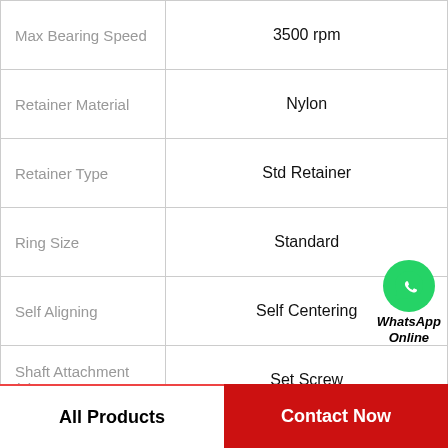| Property | Value |
| --- | --- |
| Max Bearing Speed | 3500 rpm |
| Retainer Material | Nylon |
| Retainer Type | Std Retainer |
| Ring Size | Standard |
| Self Aligning | Self Centering |
| Shaft Attachment (2) | Set Screw |
| Ship Weight | 10 LB |
| UPC | 782475769285 |
All Products
Contact Now